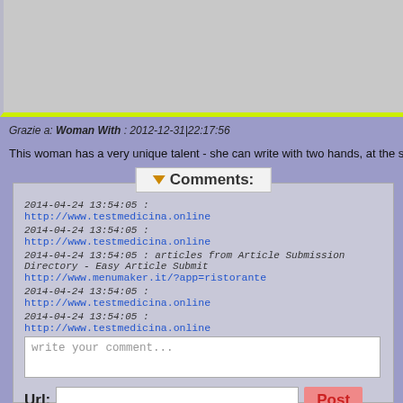[Figure (photo): Top image area with gray background and yellow-green bottom border]
Grazie a: Woman With : 2012-12-31|22:17:56
This woman has a very unique talent - she can write with two hands, at the same time, in different l
Comments:
2014-04-24 13:54:05 :
http://www.testmedicina.online
2014-04-24 13:54:05 :
http://www.testmedicina.online
2014-04-24 13:54:05 : articles from Article Submission Directory - Easy Article Submit
http://www.menumaker.it/?app=ristorante
2014-04-24 13:54:05 :
http://www.testmedicina.online
2014-04-24 13:54:05 :
http://www.testmedicina.online
write your comment...
Url:
Post
[Figure (photo): Bottom image row with photos and links including ELABORAZIONE TRAUMI and TERAPIA DI COPPIA]